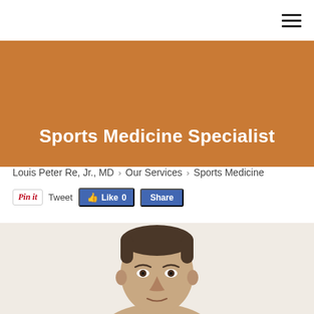Navigation menu icon
Sports Medicine Specialist
Louis Peter Re, Jr., MD  >  Our Services  >  Sports Medicine
Pin it  Tweet  Like 0  Share
[Figure (photo): Head and shoulders photo of a man with dark hair, cropped at chin/forehead level, light background]